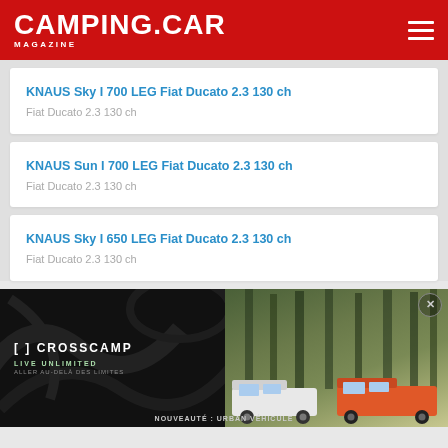CAMPING.CAR MAGAZINE
KNAUS Sky I 700 LEG Fiat Ducato 2.3 130 ch
Fiat Ducato 2.3 130 ch
KNAUS Sun I 700 LEG Fiat Ducato 2.3 130 ch
Fiat Ducato 2.3 130 ch
KNAUS Sky I 650 LEG Fiat Ducato 2.3 130 ch
Fiat Ducato 2.3 130 ch
[Figure (photo): CROSSCAMP advertisement banner showing two campervans in a forest setting with text: [  ] CROSSCAMP, LIVE UNLIMITED, ALLER AU-DELÀ DES LIMITES, NOUVEAUTÉ : URBAN VÉHICULE]